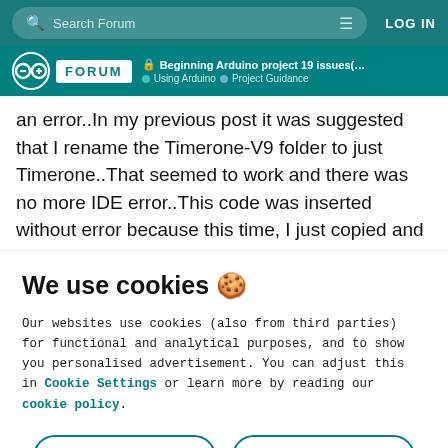Search Forum   LOG IN
Beginning Arduino project 19 issues(solv... | Using Arduino > Project Guidance
an error..In my previous post it was suggested that I rename the Timerone-V9 folder to just Timerone..That seemed to work and there was no more IDE error..This code was inserted without error because this time, I just copied and
We use cookies 🍪
Our websites use cookies (also from third parties) for functional and analytical purposes, and to show you personalised advertisement. You can adjust this in Cookie Settings or learn more by reading our cookie policy.
ONLY REQUIRED
ACCEPT ALL